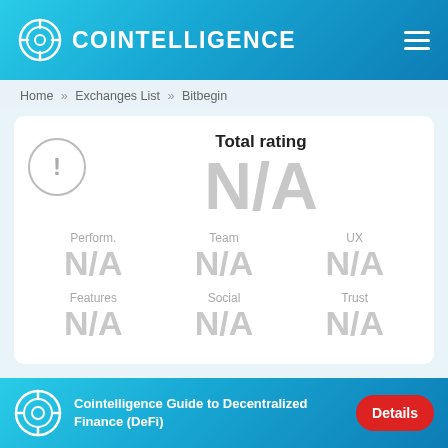COINTELLIGENCE
Home » Exchanges List » Bitbegin
Total rating
N/A
Perform. N/A   Team N/A   UX N/A   Features N/A   Social N/A   Trust N/A
Cointelligence Guide to Decentralized Finance (DeFi)   Details